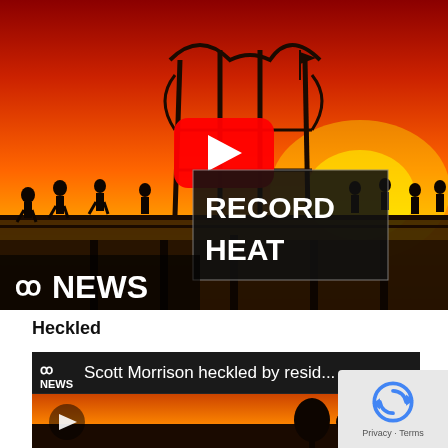[Figure (screenshot): ABC News YouTube video thumbnail showing a sunset silhouette scene of a pier with people walking, a gazebo structure, and an orange-red sky. A YouTube play button is overlaid in the center. A dark overlay box on the right shows the text 'RECORD HEAT' in white bold letters. The ABC News logo and 'NEWS' text appear in the bottom left.]
Heckled
[Figure (screenshot): ABC News YouTube video thumbnail showing 'Scott Morrison heckled by resid...' with ABC News logo at top left. Below is a landscape scene with silhouetted trees against an orange sky.]